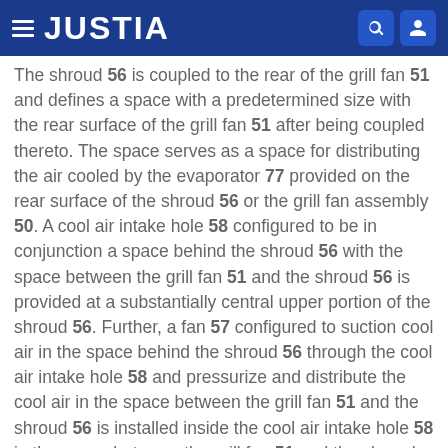JUSTIA
The shroud 56 is coupled to the rear of the grill fan 51 and defines a space with a predetermined size with the rear surface of the grill fan 51 after being coupled thereto. The space serves as a space for distributing the air cooled by the evaporator 77 provided on the rear surface of the shroud 56 or the grill fan assembly 50. A cool air intake hole 58 configured to be in conjunction a space behind the shroud 56 with the space between the grill fan 51 and the shroud 56 is provided at a substantially central upper portion of the shroud 56. Further, a fan 57 configured to suction cool air in the space behind the shroud 56 through the cool air intake hole 58 and pressurize and distribute the cool air in the space between the grill fan 51 and the shroud 56 is installed inside the cool air intake hole 58 in the space between the grill fan 51 and the shroud 56.
The cool air pressurized by the fan 57 flows into the